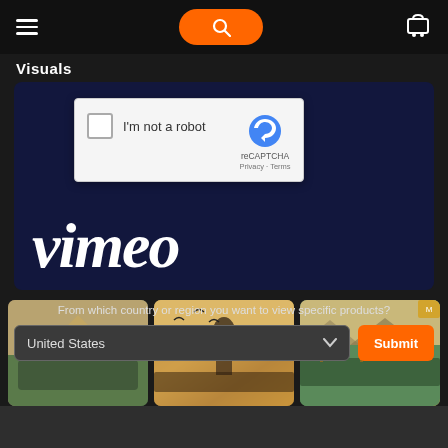Navigation bar with hamburger menu, search button, and cart icon
Visuals
[Figure (screenshot): Vimeo embed block with reCAPTCHA overlay showing checkbox 'I'm not a robot' and reCAPTCHA branding, with Vimeo logo in white italic text on dark navy background]
[Figure (photo): Three game screenshot thumbnails showing fantasy battle scenes in desert/ancient Egypt settings]
From which country or region you want to view specific products?
United States
Submit